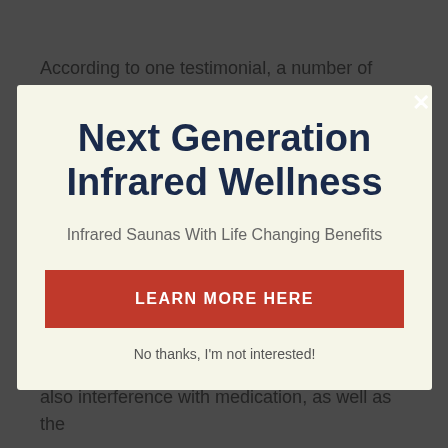According to one testimonial, a number of studies have found that infrared light therapy saunas may
Next Generation Infrared Wellness
Infrared Saunas With Life Changing Benefits
LEARN MORE HERE
No thanks, I'm not interested!
any kind of sauna, they may include the possibilities of overheating, dehydrating, and also interference with medication, as well as the